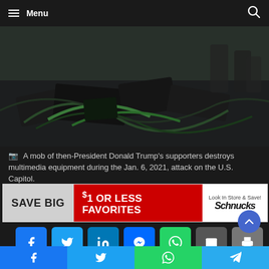Menu
[Figure (photo): A mob of then-President Donald Trump's supporters destroys multimedia equipment during the Jan. 6, 2021, attack on the U.S. Capitol.]
A mob of then-President Donald Trump's supporters destroys multimedia equipment during the Jan. 6, 2021, attack on the U.S. Capitol.
[Figure (other): Advertisement: SAVE BIG $1 OR LESS FAVORITES - Schnucks Look In Store & Save!]
[Figure (other): Social share buttons: Facebook, Twitter, LinkedIn, Messenger, WhatsApp, Email, Print]
The U.S. House committee investigating the Jan. 6, 202,1 attack on the Capitol will use its first public hearing to tie the